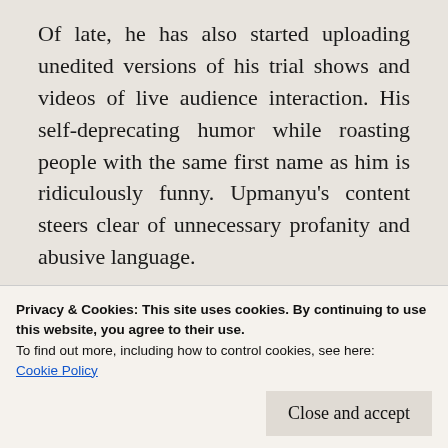Of late, he has also started uploading unedited versions of his trial shows and videos of live audience interaction. His self-deprecating humor while roasting people with the same first name as him is ridiculously funny. Upmanyu's content steers clear of unnecessary profanity and abusive language.
This is the twenty-first post in the Blogchatter A2Z challenge based on the theme 'Laugh in the time of Corona.' I will see you tomorrow
Privacy & Cookies: This site uses cookies. By continuing to use this website, you agree to their use.
To find out more, including how to control cookies, see here:
Cookie Policy
Close and accept